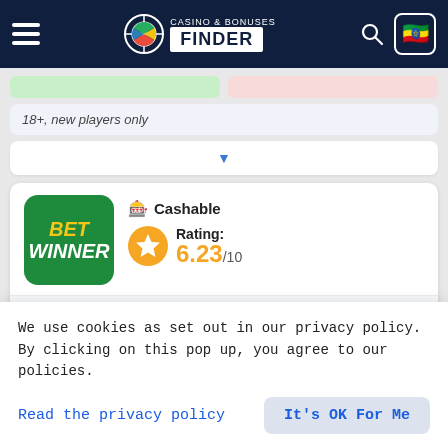CASINO & BONUSES FINDER
18+, new players only
[Figure (other): Dropdown/expand control bar with blue triangle arrow]
[Figure (logo): BetWinner casino logo - green rounded square with BET WINNER text in yellow and white italic bold font]
Cashable
Rating: 6.23/10
Available for players from Ethiopia
We use cookies as set out in our privacy policy. By clicking on this pop up, you agree to our policies.
Read the privacy policy
It's OK For Me